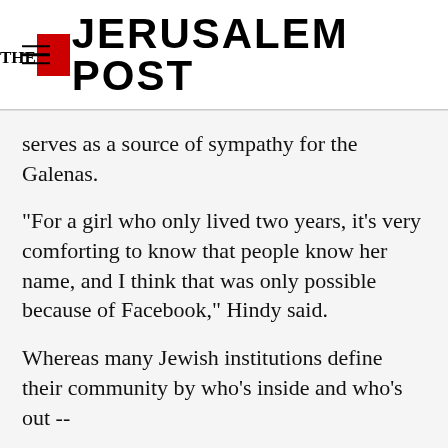THE JERUSALEM POST
serves as a source of sympathy for the Galenas.
“For a girl who only lived two years, it’s very comforting to know that people know her name, and I think that was only possible because of Facebook,” Hindy said.
Whereas many Jewish institutions define their community by who’s inside and who’s out --
Advertisement